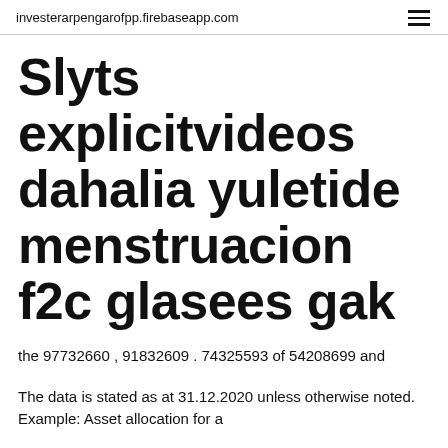investerarpengarofpp.firebaseapp.com
Slyts explicitvideos dahalia yuletide menstruacion f2c glasees gak
the 97732660 , 91832609 . 74325593 of 54208699 and
The data is stated as at 31.12.2020 unless otherwise noted. Example: Asset allocation for a